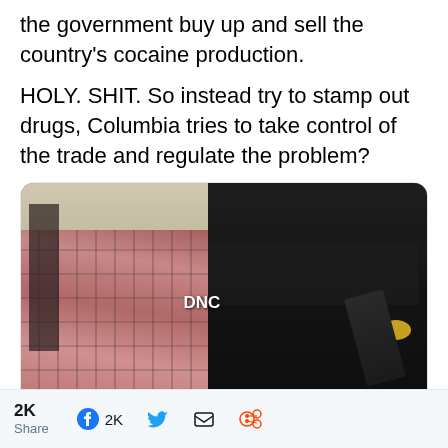the government buy up and sell the country's cocaine production.
HOLY. SHIT. So instead try to stamp out drugs, Columbia tries to take control of the trade and regulate the problem?
[Figure (photo): Armed police officer in black tactical gear and helmet holding a rifle, standing in front of large stacks of wrapped packages (seized drugs), with a building in the background.]
vice.c
2K Share
2K (Facebook share count)